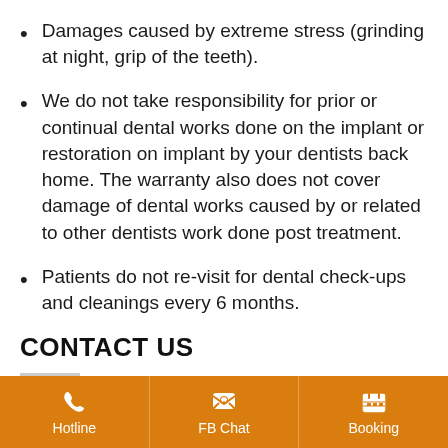Damages caused by extreme stress (grinding at night, grip of the teeth).
We do not take responsibility for prior or continual dental works done on the implant or restoration on implant by your dentists back home. The warranty also does not cover damage of dental works caused by or related to other dentists work done post treatment.
Patients do not re-visit for dental check-ups and cleanings every 6 months.
CONTACT US
Hotline | FB Chat | Booking